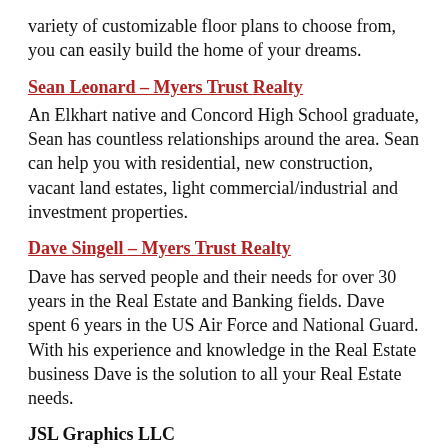variety of customizable floor plans to choose from, you can easily build the home of your dreams.
Sean Leonard – Myers Trust Realty
An Elkhart native and Concord High School graduate, Sean has countless relationships around the area. Sean can help you with residential, new construction, vacant land estates, light commercial/industrial and investment properties.
Dave Singell – Myers Trust Realty
Dave has served people and their needs for over 30 years in the Real Estate and Banking fields. Dave spent 6 years in the US Air Force and National Guard. With his experience and knowledge in the Real Estate business Dave is the solution to all your Real Estate needs.
JSL Graphics LLC
Located in Elkhart Indiana, JSL Graphics is a leader in